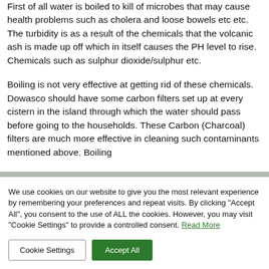First of all water is boiled to kill of microbes that may cause health problems such as cholera and loose bowels etc etc. The turbidity is as a result of the chemicals that the volcanic ash is made up off which in itself causes the PH level to rise. Chemicals such as sulphur dioxide/sulphur etc.
Boiling is not very effective at getting rid of these chemicals. Dowasco should have some carbon filters set up at every cistern in the island through which the water should pass before going to the households. These Carbon (Charcoal) filters are much more effective in cleaning such contaminants mentioned above. Boiling
We use cookies on our website to give you the most relevant experience by remembering your preferences and repeat visits. By clicking "Accept All", you consent to the use of ALL the cookies. However, you may visit "Cookie Settings" to provide a controlled consent. Read More